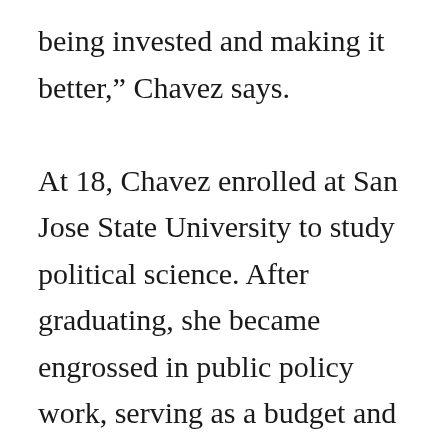being invested and making it better,” Chavez says.

At 18, Chavez enrolled at San Jose State University to study political science. After graduating, she became engrossed in public policy work, serving as a budget and policy aide on health, human services and transportation issues